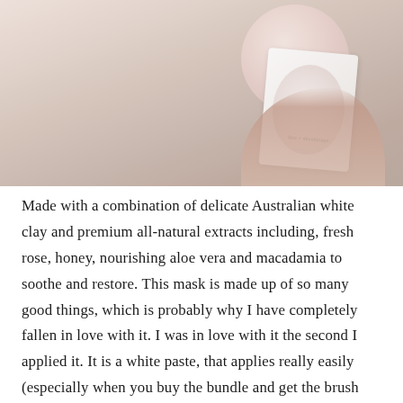[Figure (photo): A photo showing a person holding a white product packet with a pink circular design against skin (shoulder/chest area). The packet appears to be a face mask product labeled 'face + décolletage'.]
Made with a combination of delicate Australian white clay and premium all-natural extracts including, fresh rose, honey, nourishing aloe vera and macadamia to soothe and restore. This mask is made up of so many good things, which is probably why I have completely fallen in love with it. I was in love with it the second I applied it. It is a white paste, that applies really easily (especially when you buy the bundle and get the brush which makes it